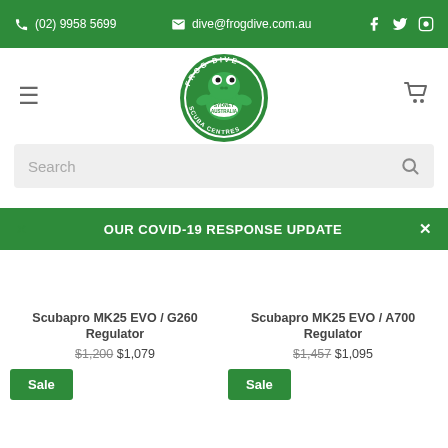(02) 9958 5699 | dive@frogdive.com.au
[Figure (logo): Frog Dive Sydney Australia Scuba Centres circular logo with green frog mascot]
Search
OUR COVID-19 RESPONSE UPDATE
Scubapro MK25 EVO / G260 Regulator $1,200 $1,079 Sale
Scubapro MK25 EVO / A700 Regulator $1,457 $1,095 Sale